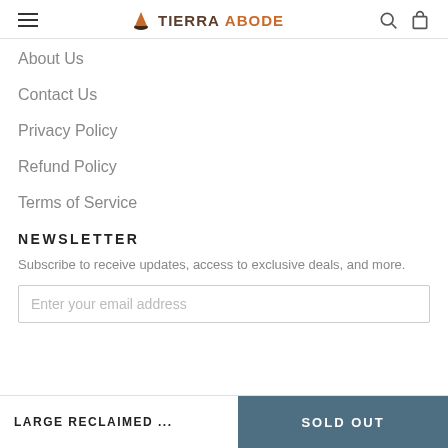TIERRA ABODE
About Us
Contact Us
Privacy Policy
Refund Policy
Terms of Service
NEWSLETTER
Subscribe to receive updates, access to exclusive deals, and more.
Enter your email address
LARGE RECLAIMED ... SOLD OUT